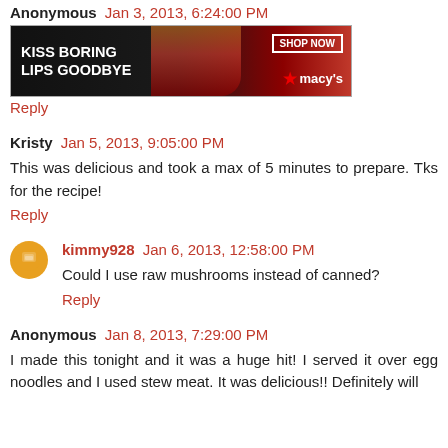Anonymous Jan 3, 2013, 6:24:00 PM
[Figure (photo): Macy's advertisement banner: 'KISS BORING LIPS GOODBYE' with a woman's face and red lips, SHOP NOW button, and Macy's star logo]
Reply
Kristy Jan 5, 2013, 9:05:00 PM
This was delicious and took a max of 5 minutes to prepare. Tks for the recipe!
Reply
kimmy928 Jan 6, 2013, 12:58:00 PM
Could I use raw mushrooms instead of canned?
Reply
Anonymous Jan 8, 2013, 7:29:00 PM
I made this tonight and it was a huge hit! I served it over egg noodles and I used stew meat. It was delicious!! Definitely will